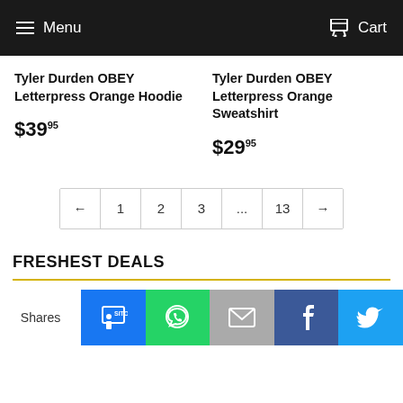Menu  Cart
Tyler Durden OBEY Letterpress Orange Hoodie
$39.95
Tyler Durden OBEY Letterpress Orange Sweatshirt
$29.95
← 1 2 3 ... 13 →
FRESHEST DEALS
Shares